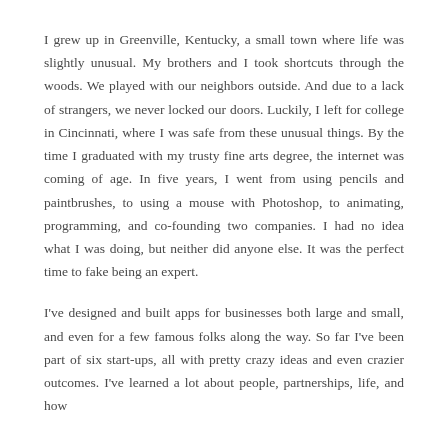I grew up in Greenville, Kentucky, a small town where life was slightly unusual. My brothers and I took shortcuts through the woods. We played with our neighbors outside. And due to a lack of strangers, we never locked our doors. Luckily, I left for college in Cincinnati, where I was safe from these unusual things. By the time I graduated with my trusty fine arts degree, the internet was coming of age. In five years, I went from using pencils and paintbrushes, to using a mouse with Photoshop, to animating, programming, and co-founding two companies. I had no idea what I was doing, but neither did anyone else. It was the perfect time to fake being an expert.
I've designed and built apps for businesses both large and small, and even for a few famous folks along the way. So far I've been part of six start-ups, all with pretty crazy ideas and even crazier outcomes. I've learned a lot about people, partnerships, life, and how...